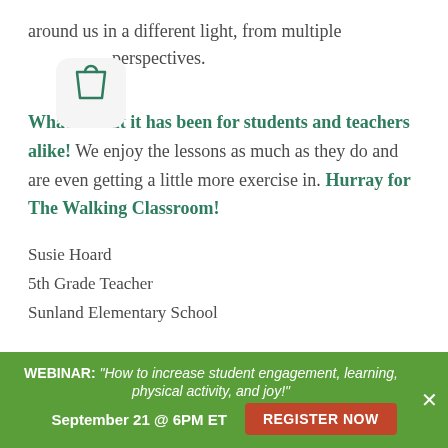around us in a different light, from multiple perspectives.
[Figure (illustration): Shopping bag icon in a rounded square box]
What a treat it has been for students and teachers alike! We enjoy the lessons as much as they do and are even getting a little more exercise in. Hurray for The Walking Classroom!
Susie Hoard
5th Grade Teacher
Sunland Elementary School
Want to comment on this story?
Add your comments below!
Are you a Walking Classroom
teacher? We want to hear your...
WEBINAR: "How to increase student engagement, learning, physical activity, and joy!"
September 21 @ 6PM ET  REGISTER NOW